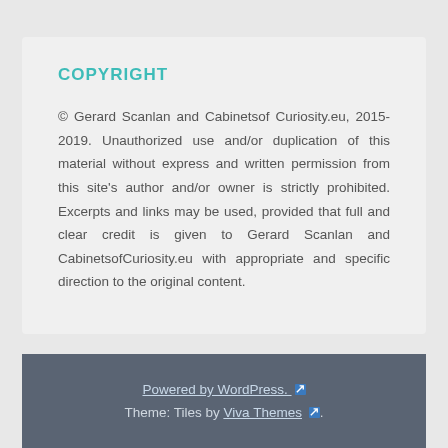COPYRIGHT
© Gerard Scanlan and Cabinetsof Curiosity.eu, 2015-2019. Unauthorized use and/or duplication of this material without express and written permission from this site's author and/or owner is strictly prohibited. Excerpts and links may be used, provided that full and clear credit is given to Gerard Scanlan and CabinetsofCuriosity.eu with appropriate and specific direction to the original content.
Powered by WordPress. Theme: Tiles by Viva Themes.